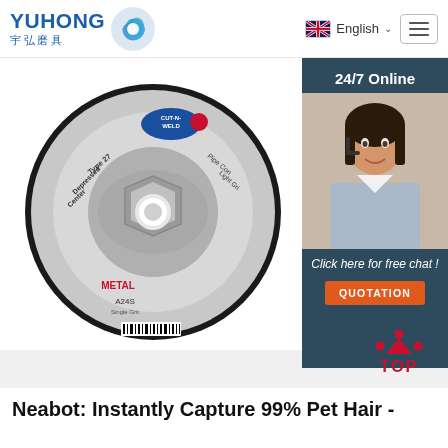[Figure (logo): YUHONG 宇弘磨具 logo with blue wave icon]
[Figure (screenshot): Website navigation bar with English language selector and hamburger menu]
[Figure (photo): CUT-N-WELD Type 27 Depressed Center grinding disc, metal grinding wheel, A24S grit, with barcode]
[Figure (photo): 24/7 Online customer service chat panel with agent photo and QUOTATION button]
[Figure (other): TOP button with red dots and label]
Neabot: Instantly Capture 99% Pet Hair -